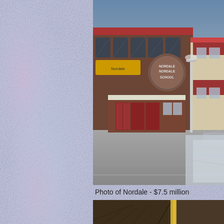[Figure (photo): Exterior photo of Nordale Elementary School building showing brick facade, red entrance doors, signage reading 'Nordale School', a lamppost, and parking area in winter/early spring conditions.]
Photo of Nordale - $7.5 million
[Figure (photo): Partial photo of another building exterior, partially visible at bottom of page.]